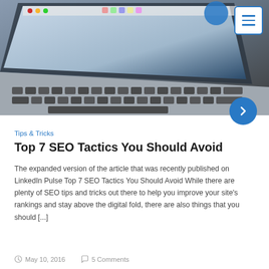[Figure (photo): Close-up photo of a MacBook laptop keyboard and screen showing macOS dock and taskbar]
Tips & Tricks
Top 7 SEO Tactics You Should Avoid
The expanded version of the article that was recently published on LinkedIn Pulse Top 7 SEO Tactics You Should Avoid While there are plenty of SEO tips and tricks out there to help you improve your site's rankings and stay above the digital fold, there are also things that you should [...]
May 10, 2016   5 Comments